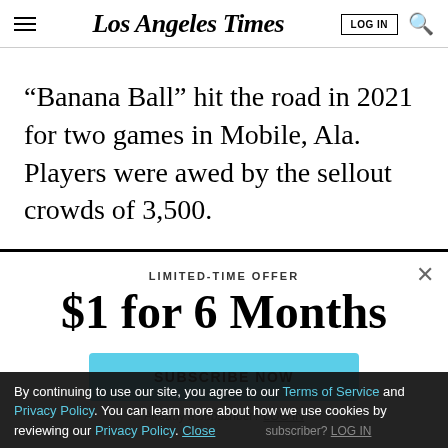Los Angeles Times
“Banana Ball” hit the road in 2021 for two games in Mobile, Ala. Players were awed by the sellout crowds of 3,500.
LIMITED-TIME OFFER
$1 for 6 Months
SUBSCRIBE NOW
Already a subscriber? LOG IN
By continuing to use our site, you agree to our Terms of Service and Privacy Policy. You can learn more about how we use cookies by reviewing our Privacy Policy. Close